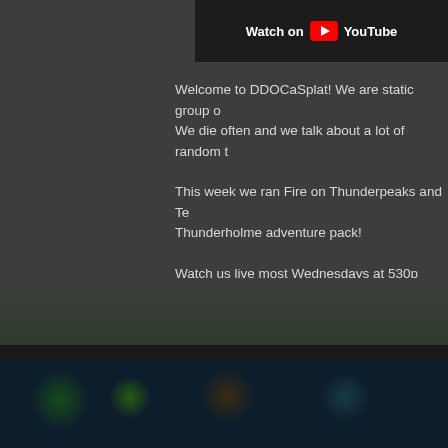[Figure (screenshot): YouTube video thumbnail with 'Watch on YouTube' badge, partial view at top of page]
Welcome to DDOCaSplat! We are static group o... We die often and we talk about a lot of random t...
This week we ran Fire on Thunderpeaks and Te... Thunderholme adventure pack!
Watch us live most Wednesdays at 530p pacific...
Follow us on Twitter!
Patrick: @ddocast
Don't forget to watch DDOCast's weekly DDO ne... DDOCast.com
July 3, 2020
[Figure (photo): Dark themed image with game-related artwork visible at bottom of page]